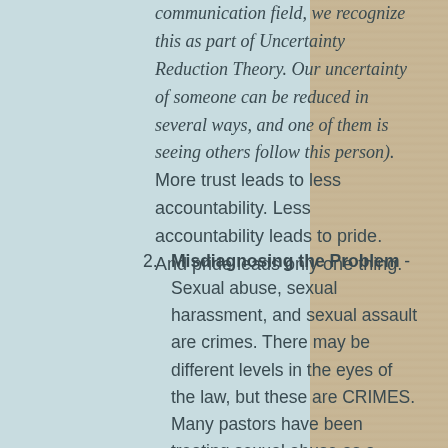communication field, we recognize this as part of Uncertainty Reduction Theory. Our uncertainty of someone can be reduced in several ways, and one of them is seeing others follow this person). More trust leads to less accountability. Less accountability leads to pride. And pride leads only one thing.
2. Misdiagnosing the Problem - Sexual abuse, sexual harassment, and sexual assault are crimes. There may be different levels in the eyes of the law, but these are CRIMES. Many pastors have been treating sexual abuse as a moral failure. Something that can be